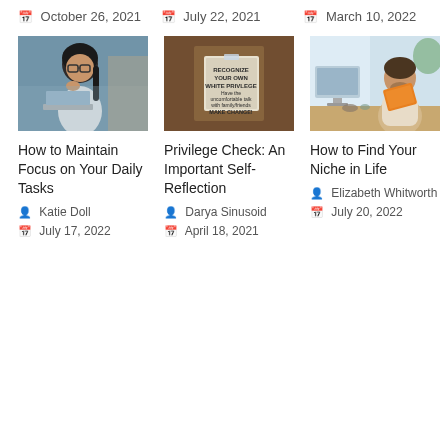October 26, 2021
July 22, 2021
March 10, 2022
[Figure (photo): Woman with glasses thinking, sitting at a desk with laptop]
[Figure (photo): Sign reading: RECOGNIZE YOUR OWN WHITE PRIVLEGE Have the uncomfortable talk with family/friends MAKE CHANGE!]
[Figure (photo): Smiling man at desk holding an orange book, bright office background]
How to Maintain Focus on Your Daily Tasks
Katie Doll
July 17, 2022
Privilege Check: An Important Self-Reflection
Darya Sinusoid
April 18, 2021
How to Find Your Niche in Life
Elizabeth Whitworth
July 20, 2022